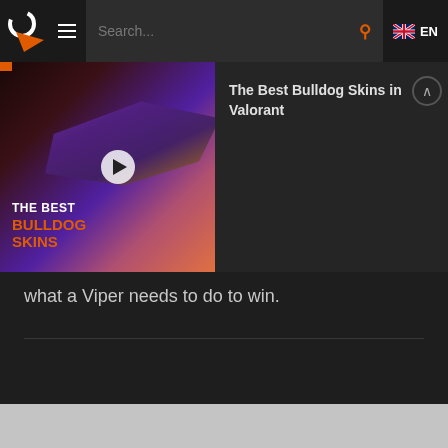Search... EN
[Figure (screenshot): Video thumbnail showing Valorant Bulldog gun skins with text 'THE BEST BULLDOG SKINS' and a play button overlay]
The Best Bulldog Skins in Valorant
what a Viper needs to do to win.